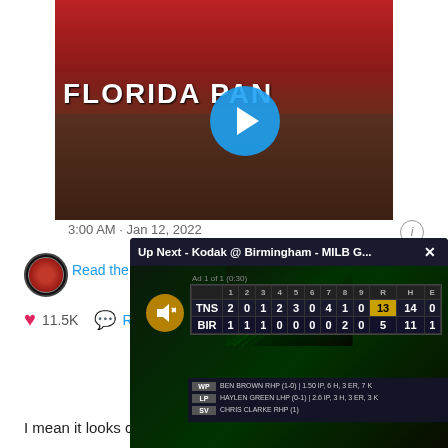[Figure (screenshot): Video thumbnail showing Florida Panthers hockey arena with play button overlay]
3:00 AM · Jan 12, 2022
Read the full
11.5K
[Figure (screenshot): Overlay popup: Up Next - Kodak @ Birmingham - MILB G... with scoreboard showing TNS vs BIR game]
I mean it looks cut and